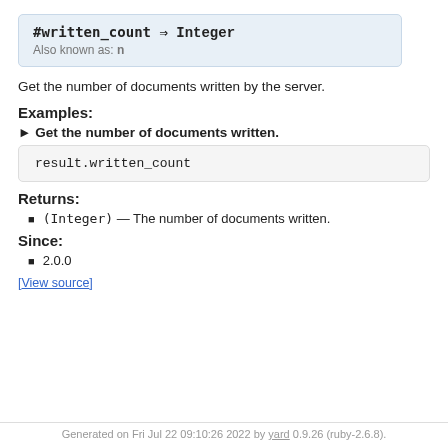#written_count ⇒ Integer
Also known as: n
Get the number of documents written by the server.
Examples:
► Get the number of documents written.
result.written_count
Returns:
(Integer) — The number of documents written.
Since:
2.0.0
[View source]
Generated on Fri Jul 22 09:10:26 2022 by yard 0.9.26 (ruby-2.6.8).